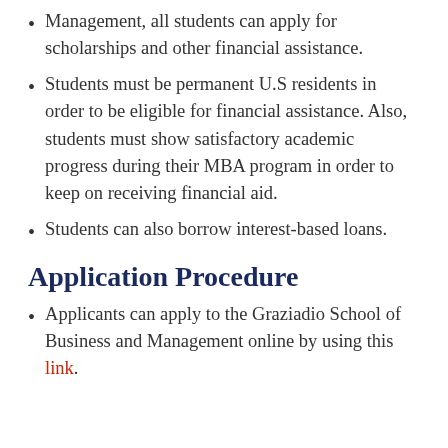Management, all students can apply for scholarships and other financial assistance.
Students must be permanent U.S residents in order to be eligible for financial assistance. Also, students must show satisfactory academic progress during their MBA program in order to keep on receiving financial aid.
Students can also borrow interest-based loans.
Application Procedure
Applicants can apply to the Graziadio School of Business and Management online by using this link.